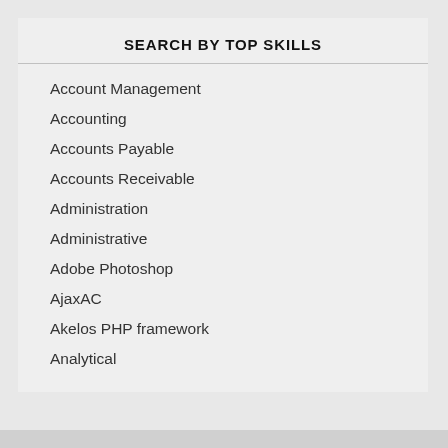SEARCH BY TOP SKILLS
Account Management
Accounting
Accounts Payable
Accounts Receivable
Administration
Administrative
Adobe Photoshop
AjaxAC
Akelos PHP framework
Analytical